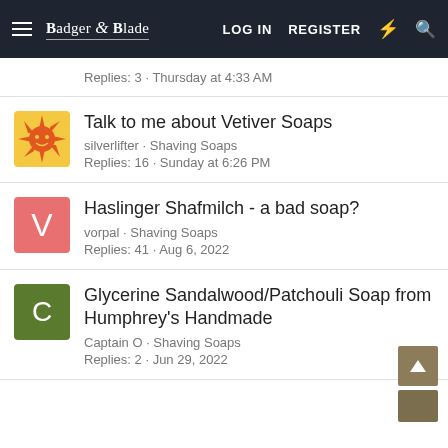Badger & Blade | LOG IN | REGISTER
Replies: 3 · Thursday at 4:33 AM
Talk to me about Vetiver Soaps
silverlifter · Shaving Soaps
Replies: 16 · Sunday at 6:26 PM
Haslinger Shafmilch - a bad soap?
vorpal · Shaving Soaps
Replies: 41 · Aug 6, 2022
Glycerine Sandalwood/Patchouli Soap from Humphrey's Handmade
Captain O · Shaving Soaps
Replies: 2 · Jun 29, 2022